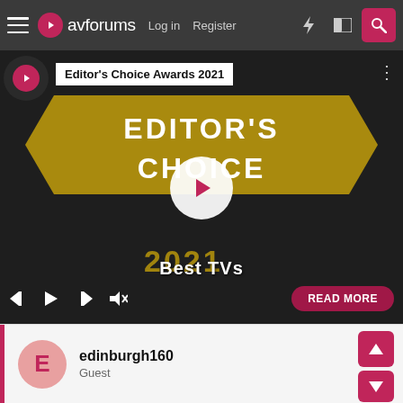avforums  Log in  Register
[Figure (screenshot): Video player showing Editor's Choice Awards 2021 - Best TVs content with play button overlay, media controls, and READ MORE button]
Best TVs of 2021 - Editor's
edinburgh160
Guest